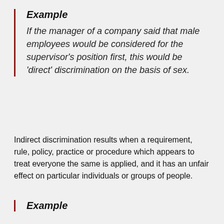Example
If the manager of a company said that male employees would be considered for the supervisor's position first, this would be 'direct' discrimination on the basis of sex.
Indirect discrimination results when a requirement, rule, policy, practice or procedure which appears to treat everyone the same is applied, and it has an unfair effect on particular individuals or groups of people.
Example